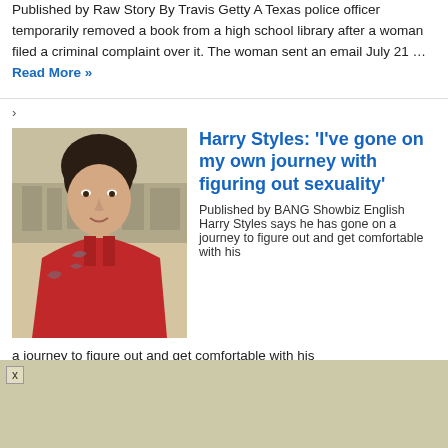Published by Raw Story By Travis Getty A Texas police officer temporarily removed a book from a high school library after a woman filed a criminal complaint over it. The woman sent an email July 21 … Read More »
›
[Figure (photo): Photo of Harry Styles wearing a red outfit, with tattoos visible on his chest and arm, standing outdoors]
Harry Styles: 'I've gone on my own journey with figuring out sexuality'
Published by BANG Showbiz English Harry Styles says he has gone on a journey to figure out and get comfortable with his